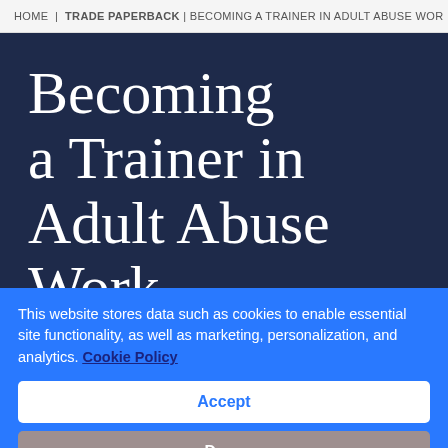HOME | TRADE PAPERBACK | BECOMING A TRAINER IN ADULT ABUSE WOR
Becoming a Trainer in Adult Abuse Work
This website stores data such as cookies to enable essential site functionality, as well as marketing, personalization, and analytics. Cookie Policy
Accept
Deny